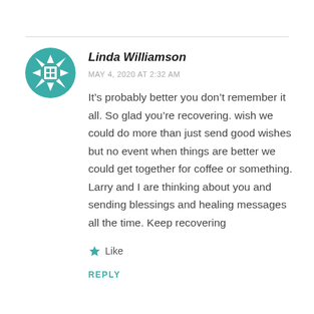[Figure (illustration): Teal snowflake/geometric avatar icon for user Linda Williamson]
Linda Williamson
MAY 4, 2020 AT 2:32 AM
It’s probably better you don’t remember it all. So glad you’re recovering. wish we could do more than just send good wishes but no event when things are better we could get together for coffee or something. Larry and I are thinking about you and sending blessings and healing messages all the time. Keep recovering
Like
REPLY